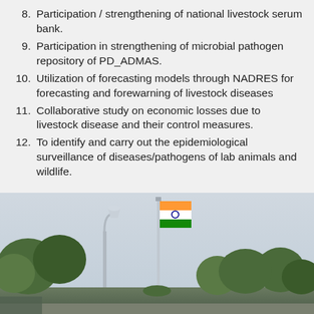8. Participation / strengthening of national livestock serum bank.
9. Participation in strengthening of microbial pathogen repository of PD_ADMAS.
10. Utilization of forecasting models through NADRES for forecasting and forewarning of livestock diseases
11. Collaborative study on economic losses due to livestock disease and their control measures.
12. To identify and carry out the epidemiological surveillance of diseases/pathogens of lab animals and wildlife.
[Figure (photo): Outdoor photograph showing a tall flagpole with the Indian tricolor flag flying, a lamp post with a conical lamp head, green trees and shrubs in the background, and an overcast sky.]